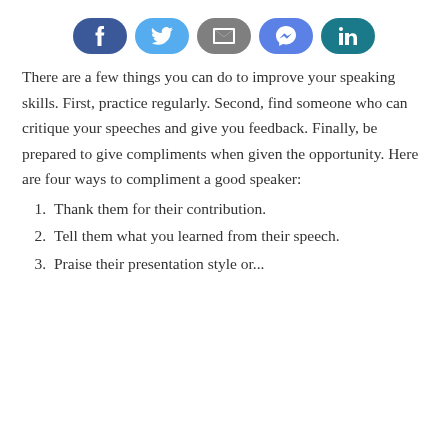[Figure (infographic): Row of five social sharing buttons: Facebook (dark blue), Twitter (light blue), Email (gray), Messenger (light purple-blue), LinkedIn (dark teal)]
There are a few things you can do to improve your speaking skills. First, practice regularly. Second, find someone who can critique your speeches and give you feedback. Finally, be prepared to give compliments when given the opportunity. Here are four ways to compliment a good speaker:
Thank them for their contribution.
Tell them what you learned from their speech.
Praise their presentation style or...